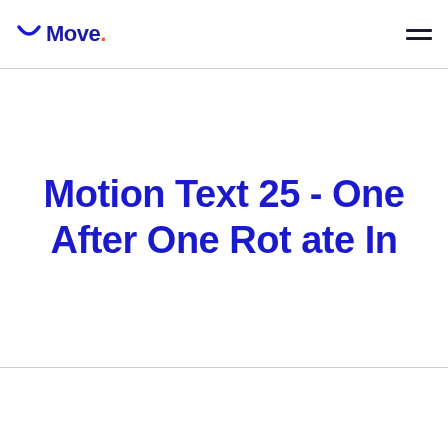☺ Move.
Motion Text 25 - One After One Rotate In